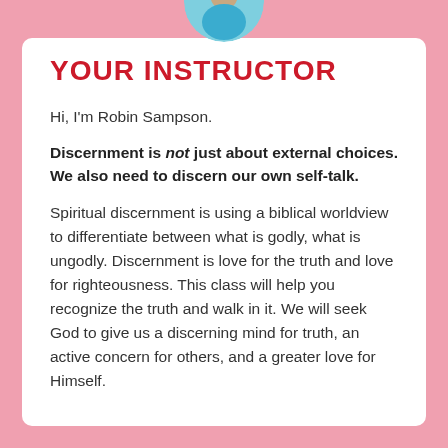[Figure (photo): Circular photo of instructor Robin Sampson, partially visible at top of card, showing a person wearing a blue top.]
YOUR INSTRUCTOR
Hi, I'm Robin Sampson.
Discernment is not just about external choices. We also need to discern our own self-talk.
Spiritual discernment is using a biblical worldview to differentiate between what is godly, what is ungodly. Discernment is love for the truth and love for righteousness. This class will help you recognize the truth and walk in it. We will seek God to give us a discerning mind for truth, an active concern for others, and a greater love for Himself.